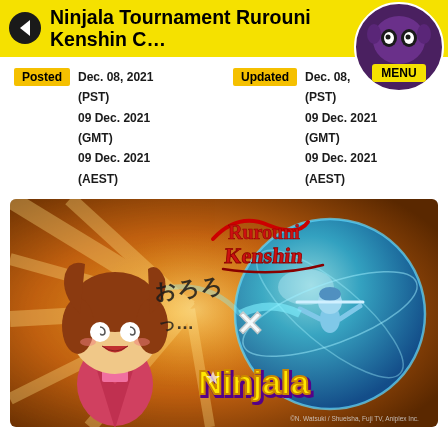Ninjala Tournament Rurouni Kenshin Collab
Posted Dec. 08, 2021 (PST) / 09 Dec. 2021 (GMT) / 09 Dec. 2021 (AEST) | Updated Dec. 08, 2021 (PST) / 09 Dec. 2021 (GMT) / 09 Dec. 2021 (AEST)
[Figure (illustration): Rurouni Kenshin x Ninjala collaboration promotional artwork featuring chibi Kenshin character on left with Japanese text, Rurouni Kenshin logo, X symbol, Ninjala logo, and a glowing blue sphere with a character on the right. Copyright notice at bottom right.]